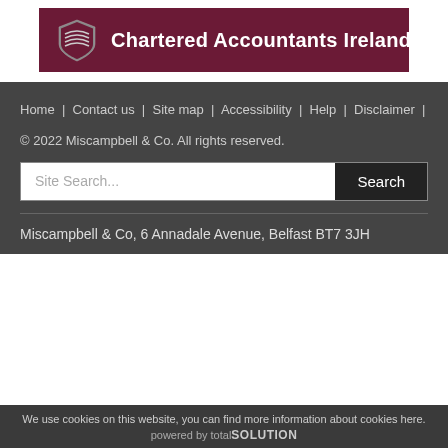[Figure (logo): Chartered Accountants Ireland logo banner with shield icon on dark maroon background]
Home | Contact us | Site map | Accessibility | Help | Disclaimer |
© 2022 Miscampbell & Co. All rights reserved.
Site Search...  Search
Miscampbell & Co, 6 Annadale Avenue, Belfast BT7 3JH
We use cookies on this website, you can find more information about cookies here. powered by totalSOLUTION